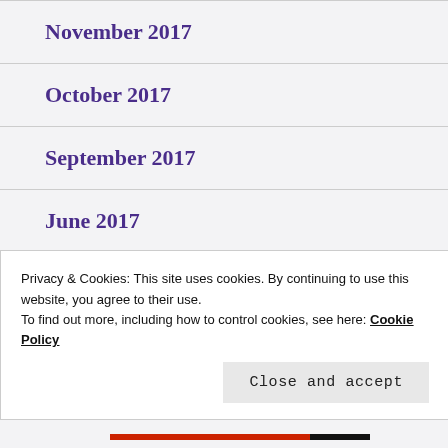November 2017
October 2017
September 2017
June 2017
May 2017
April 2017
Privacy & Cookies: This site uses cookies. By continuing to use this website, you agree to their use.
To find out more, including how to control cookies, see here: Cookie Policy
Close and accept